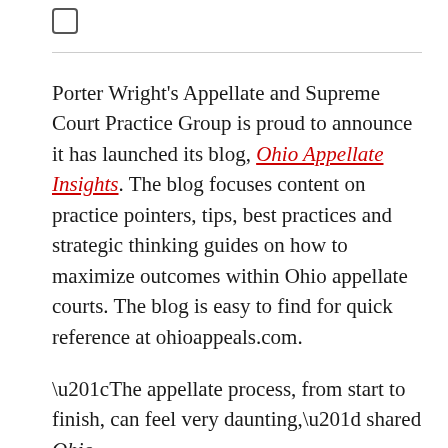[Figure (other): Small checkbox icon in top left area]
Porter Wright's Appellate and Supreme Court Practice Group is proud to announce it has launched its blog, Ohio Appellate Insights. The blog focuses content on practice pointers, tips, best practices and strategic thinking guides on how to maximize outcomes within Ohio appellate courts. The blog is easy to find for quick reference at ohioappeals.com.
“The appellate process, from start to finish, can feel very daunting,” shared Ohio